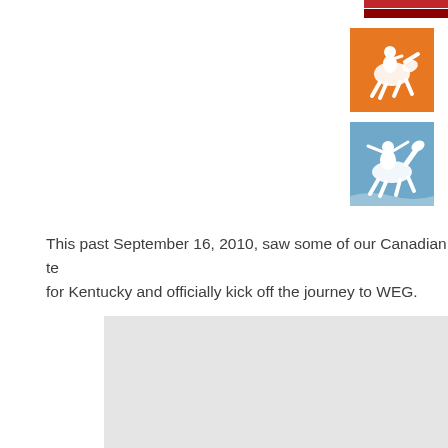[Figure (logo): Partially visible red/dark red logo or flag icon at the top right, cropped]
[Figure (logo): Orange square icon with white stylized equestrian/para-equestrian rider figure]
[Figure (logo): Light blue square icon with white stylized equestrian figure in dynamic pose]
This past September 16, 2010, saw some of our Canadian te for Kentucky and officially kick off the journey to WEG.
[Figure (photo): Large light gray rectangular area representing a photo or image placeholder, partially visible, cropped at bottom and right]